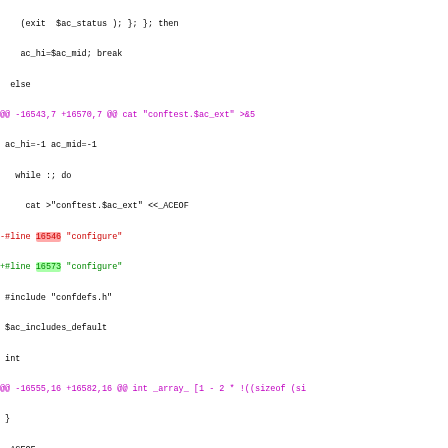diff/patch code block showing changes to configure script lines around 16543-16594